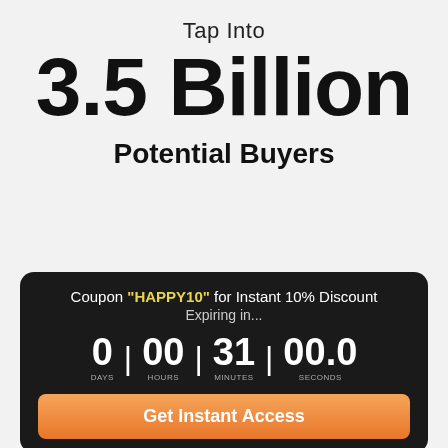Tap Into
3.5 Billion
Potential Buyers
[Figure (infographic): Dark overlay popup banner with coupon code, countdown timer, and CTA button over faded background text. Coupon: HAPPY10 for Instant 10% Discount. Countdown: 0 DAYS | 00 HOURS | 31 MINUTES | 00.0 SECONDS. Button: Get Instant Access. Background text: Why just marketing on a single channel while you omnichannel presence!]